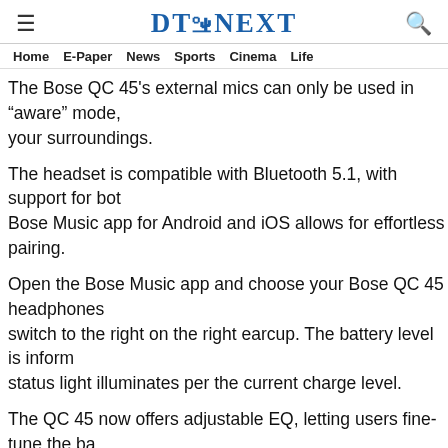DT NEXT
Home   E-Paper   News   Sports   Cinema   Life
The Bose QC 45's external mics can only be used in "aware" mode, your surroundings.
The headset is compatible with Bluetooth 5.1, with support for both Bose Music app for Android and iOS allows for effortless pairing.
Open the Bose Music app and choose your Bose QC 45 headphones switch to the right on the right earcup. The battery level is informed status light illuminates per the current charge level.
The QC 45 now offers adjustable EQ, letting users fine-tune the bass preference or choose from a variety of preset selections.
The headset's sound profile is highly neutral, making it suitable for Extra bass adds thud, rumble, and boom to mixes without overpow